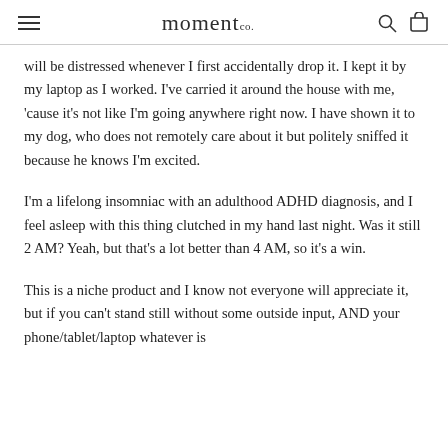moment co.
will be distressed whenever I first accidentally drop it. I kept it by my laptop as I worked. I've carried it around the house with me, 'cause it's not like I'm going anywhere right now. I have shown it to my dog, who does not remotely care about it but politely sniffed it because he knows I'm excited.
I'm a lifelong insomniac with an adulthood ADHD diagnosis, and I feel asleep with this thing clutched in my hand last night. Was it still 2 AM? Yeah, but that's a lot better than 4 AM, so it's a win.
This is a niche product and I know not everyone will appreciate it, but if you can't stand still without some outside input, AND your phone/tablet/laptop whatever is